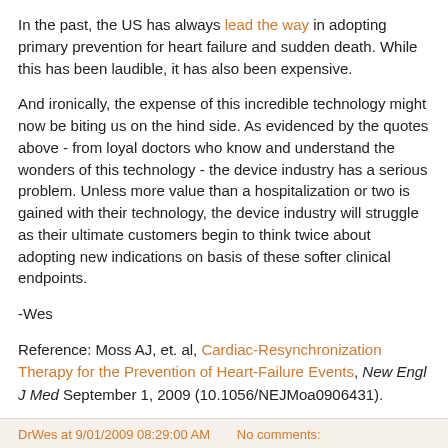In the past, the US has always lead the way in adopting primary prevention for heart failure and sudden death. While this has been laudible, it has also been expensive.
And ironically, the expense of this incredible technology might now be biting us on the hind side. As evidenced by the quotes above - from loyal doctors who know and understand the wonders of this technology - the device industry has a serious problem. Unless more value than a hospitalization or two is gained with their technology, the device industry will struggle as their ultimate customers begin to think twice about adopting new indications on basis of these softer clinical endpoints.
-Wes
Reference: Moss AJ, et. al, Cardiac-Resynchronization Therapy for the Prevention of Heart-Failure Events, New Engl J Med September 1, 2009 (10.1056/NEJMoa0906431).
DrWes at 9/01/2009 08:29:00 AM    No comments: